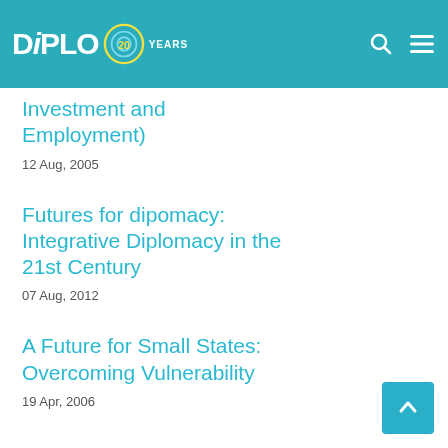Diplo 20 Years
Investment and Employment)
12 Aug, 2005
Futures for dipomacy: Integrative Diplomacy in the 21st Century
07 Aug, 2012
A Future for Small States: Overcoming Vulnerability
19 Apr, 2006